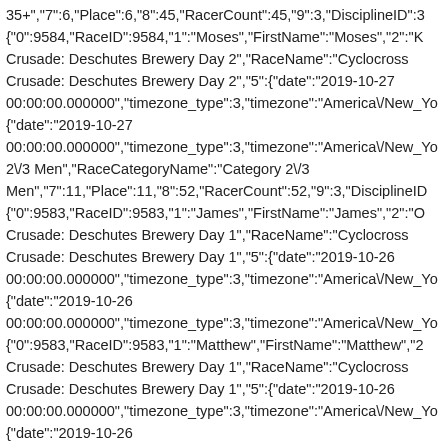35+","7":6,"Place":6,"8":45,"RacerCount":45,"9":3,"DisciplineID":3 {"0":9584,"RaceID":9584,"1":"Moses","FirstName":"Moses","2":"K Crusade: Deschutes Brewery Day 2","RaceName":"Cyclocross Crusade: Deschutes Brewery Day 2","5":{"date":"2019-10-27 00:00:00.000000","timezone_type":3,"timezone":"America\/New_Yo {"date":"2019-10-27 00:00:00.000000","timezone_type":3,"timezone":"America\/New_Yo 2\/3 Men","RaceCategoryName":"Category 2\/3 Men","7":11,"Place":11,"8":52,"RacerCount":52,"9":3,"DisciplineID {"0":9583,"RaceID":9583,"1":"James","FirstName":"James","2":"O Crusade: Deschutes Brewery Day 1","RaceName":"Cyclocross Crusade: Deschutes Brewery Day 1","5":{"date":"2019-10-26 00:00:00.000000","timezone_type":3,"timezone":"America\/New_Yo {"date":"2019-10-26 00:00:00.000000","timezone_type":3,"timezone":"America\/New_Yo {"0":9583,"RaceID":9583,"1":"Matthew","FirstName":"Matthew","2 Crusade: Deschutes Brewery Day 1","RaceName":"Cyclocross Crusade: Deschutes Brewery Day 1","5":{"date":"2019-10-26 00:00:00.000000","timezone_type":3,"timezone":"America\/New_Yo {"date":"2019-10-26 00:00:00.000000","timezone_type":3,"timezone":"America\/New_Yo 4 Masters 35+","RaceCategoryName":"Category 4 Masters 35+","7":12,"Place":12,"8":54,"RacerCount":54,"9":3,"DisciplineID {"0":9583,"RaceID":9583,"1":"Moses","FirstName":"Moses","2":"K Crusade: Deschutes Brewery Day 1","RaceName":"Cyclocross